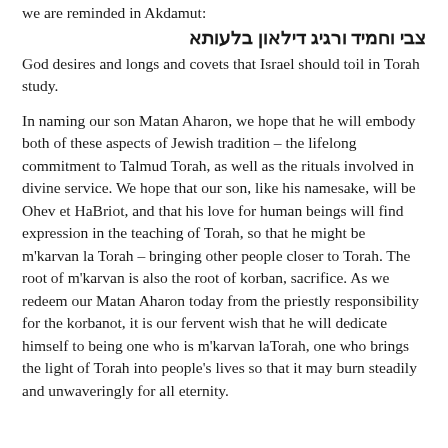we are reminded in Akdamut:
צבי וחמיד ורגיג דילאון בלעותא
God desires and longs and covets that Israel should toil in Torah study.
In naming our son Matan Aharon, we hope that he will embody both of these aspects of Jewish tradition – the lifelong commitment to Talmud Torah, as well as the rituals involved in divine service. We hope that our son, like his namesake, will be Ohev et HaBriot, and that his love for human beings will find expression in the teaching of Torah, so that he might be m'karvan la Torah – bringing other people closer to Torah. The root of m'karvan is also the root of korban, sacrifice. As we redeem our Matan Aharon today from the priestly responsibility for the korbanot, it is our fervent wish that he will dedicate himself to being one who is m'karvan laTorah, one who brings the light of Torah into people's lives so that it may burn steadily and unwaveringly for all eternity.